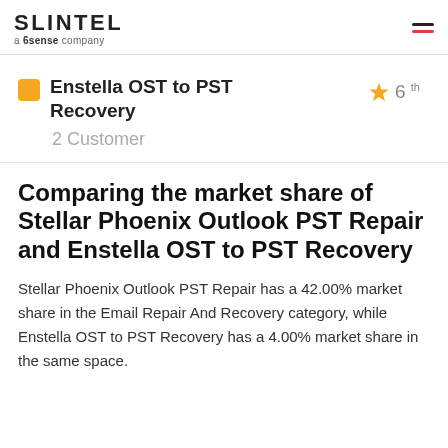SLINTEL a 6sense company
Enstella OST to PST Recovery
2 Customer
Comparing the market share of Stellar Phoenix Outlook PST Repair and Enstella OST to PST Recovery
Stellar Phoenix Outlook PST Repair has a 42.00% market share in the Email Repair And Recovery category, while Enstella OST to PST Recovery has a 4.00% market share in the same space.